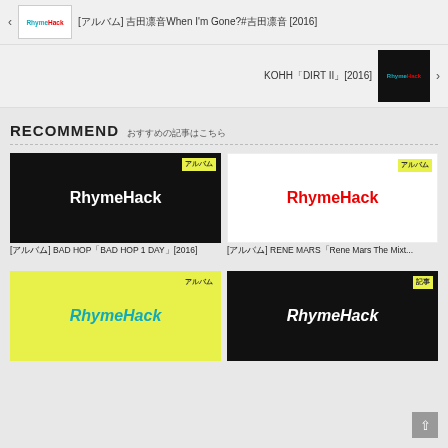< RhymeHack [アルバム] 吉田凛音 When I'm Gone？#吉田凛音 [2016]
KOHH「DIRT II」[2016] RhymeHack >
RECOMMEND おすすめの記事はこちら
[Figure (screenshot): Card with black background showing RhymeHack logo in white text, badge label top right]
[アルバム] BAD HOP「BAD HOP 1 DAY」[2016]
[Figure (screenshot): Card with white background showing RhymeHack logo in red text, badge label top right]
[アルバム] RENE MARS「Rene Mars The Mixt...
[Figure (screenshot): Card with lime/yellow background showing RhymeHack logo in blue italic text, badge label top right]
[Figure (screenshot): Card with black background showing RhymeHack logo in white italic text, badge label top right]